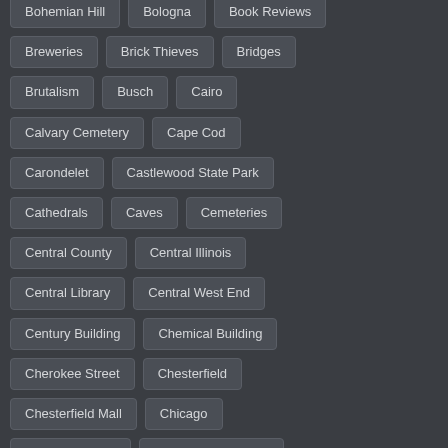Bohemian Hill
Bologna
Book Reviews
Breweries
Brick Thieves
Bridges
Brutalism
Busch
Cairo
Calvary Cemetery
Cape Cod
Carondelet
Castlewood State Park
Cathedrals
Caves
Cemeteries
Central County
Central Illinois
Central Library
Central West End
Century Building
Chemical Building
Cherokee Street
Chesterfield
Chesterfield Mall
Chicago
Chicago School
Chouteau's Landing